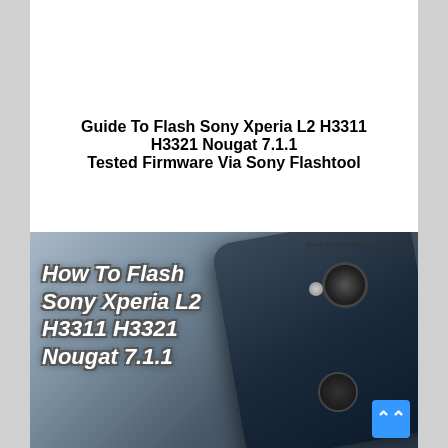Guide To Flash Sony Xperia L2 H3311 H3321 Nougat 7.1.1 Tested Firmware Via Sony Flashtool
[Figure (photo): Promotional image showing Sony Xperia L2 phone (back view with camera and fingerprint sensor) with text overlay 'How To Flash Sony Xperia L2 H3311 H3321 Nougat 7.1.1' and watermark 'www.freemobilefirmware.com']